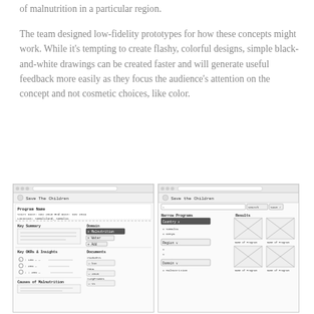of malnutrition in a particular region.
The team designed low-fidelity prototypes for how these concepts might work. While it's tempting to create flashy, colorful designs, simple black-and-white drawings can be created faster and will generate useful feedback more easily as they focus the audience's attention on the concept and not cosmetic choices, like color.
[Figure (illustration): Two hand-drawn low-fidelity wireframe sketches of a web application called 'Save The Children'. Left sketch shows a program detail page with Program Name, Start Date, End Date, Location, Key Summary, Domain (Malnutrition, Water), Key OKRs & Insights with percentage indicators, Causes of Malnutrition, and Documents sections. Right sketch shows a search/browse page with a search bar, Narrow Programs filters (Country: Somalia, Kenya; Region; Domain: Malnutrition), and Results showing placeholder image cards with 'Name of Program' labels.]